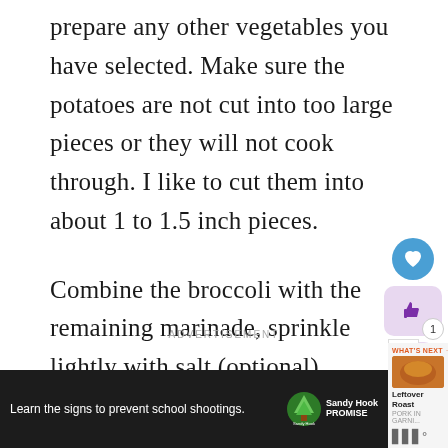prepare any other vegetables you have selected. Make sure the potatoes are not cut into too large pieces or they will not cook through. I like to cut them into about 1 to 1.5 inch pieces.
Combine the broccoli with the remaining marinade, sprinkle lightly with salt (optional) ...
[Figure (other): Social interaction buttons: heart (like) button in blue circle, thumbs-up button with count of 1 on purple/lavender rounded rectangle, share button on purple/lavender rounded rectangle]
ADVERTISEMENT
[Figure (other): Advertisement banner: dark background with Sandy Hook Promise logo and text 'Learn the signs to prevent school shootings.' Close button with X. Right side panel showing 'WHAT'S NEXT' label, 'Leftover Roast' text, food thumbnail image, and mute icon.]